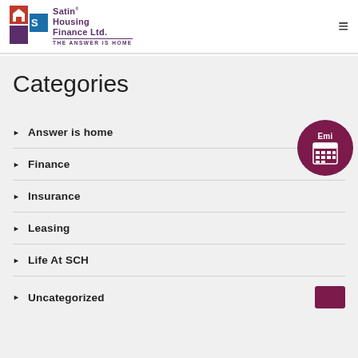[Figure (logo): Satin Housing Finance Ltd. logo with house icon and tagline THE ANSWER IS HOME]
Categories
[Figure (other): EMI calculator circular button icon]
Answer is home
Finance
Insurance
Leasing
Life At SCH
Uncategorized